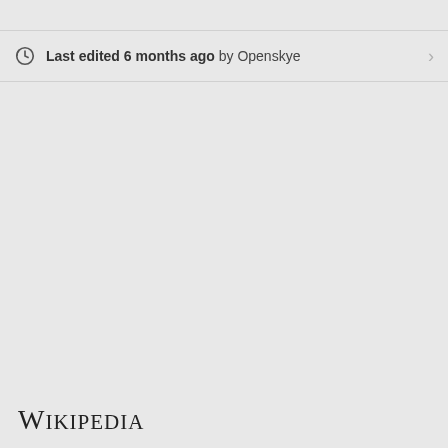Last edited 6 months ago by Openskye
[Figure (logo): Wikipedia logo text at bottom left]